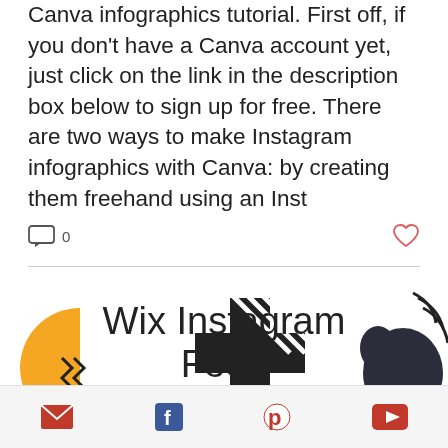Canva infographics tutorial. First off, if you don't have a Canva account yet, just click on the link in the description box below to sign up for free. There are two ways to make Instagram infographics with Canva: by creating them freehand using an Inst
[Figure (infographic): Comment icon with '0' count and heart/like icon on the right]
[Figure (illustration): Wix Instagram Feed card with decorative graphic elements (yellow semicircle with zigzag, plus sign with diagonal stripes, dark bird silhouette) and title text 'Wix Instagram Feed']
[Figure (infographic): Footer bar with social media icons: email (envelope), Facebook (f), Pinterest (p), YouTube (play button)]